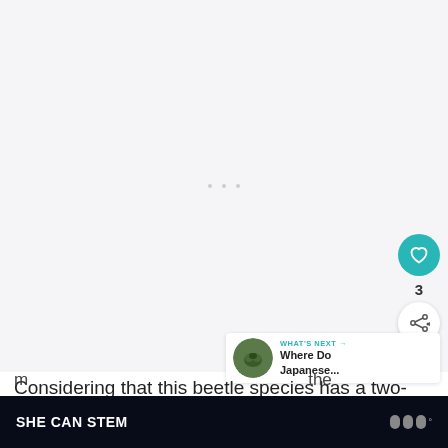[Figure (photo): Blank/white image area representing a beetle species article photo, partially visible]
[Figure (screenshot): UI overlay: teal heart button showing 3 likes, share button below, and 'What's Next' widget showing a Japanese beetle thumbnail]
Considering that this beetle species has a two-
[Figure (screenshot): Dark ad banner reading 'SHE CAN STEM' with logo icons on the right]
m the su at's not